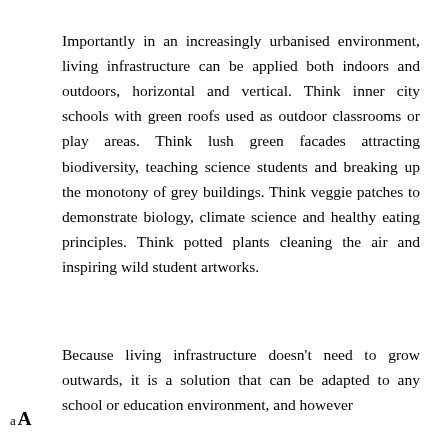Importantly in an increasingly urbanised environment, living infrastructure can be applied both indoors and outdoors, horizontal and vertical. Think inner city schools with green roofs used as outdoor classrooms or play areas. Think lush green facades attracting biodiversity, teaching science students and breaking up the monotony of grey buildings. Think veggie patches to demonstrate biology, climate science and healthy eating principles. Think potted plants cleaning the air and inspiring wild student artworks.
Because living infrastructure doesn't need to grow outwards, it is a solution that can be adapted to any school or education environment, and however